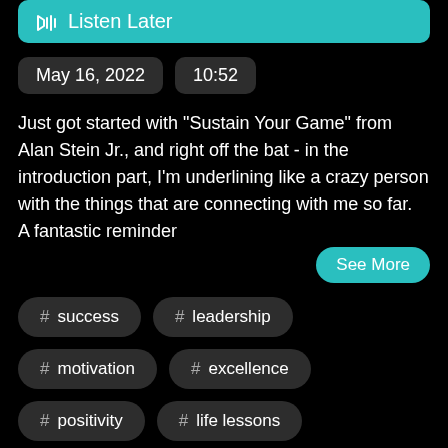Listen Later
May 16, 2022   10:52
Just got started with "Sustain Your Game" from Alan Stein Jr., and right off the bat - in the introduction part, I'm underlining like a crazy person with the things that are connecting with me so far.  A fantastic reminder
See More
# success
# leadership
# motivation
# excellence
# positivity
# life lessons
# personal development